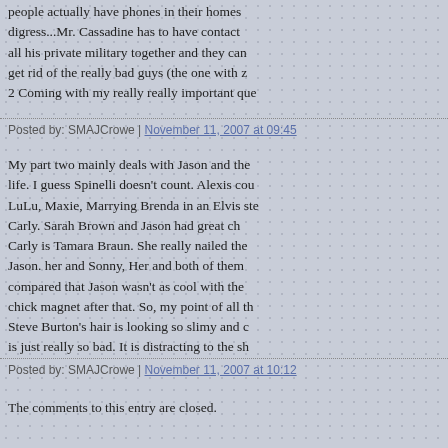people actually have phones in their homes digress...Mr. Cassadine has to have contact all his private military together and they can get rid of the really bad guys (the one with z 2 Coming with my really really important que
Posted by: SMAJCrowe | November 11, 2007 at 09:45
My part two mainly deals with Jason and the life. I guess Spinelli doesn't count. Alexis cou LuLu, Maxie, Marrying Brenda in an Elvis ste Carly. Sarah Brown and Jason had great ch Carly is Tamara Braun. She really nailed the Jason. her and Sonny, Her and both of them compared that Jason wasn't as cool with the chick magnet after that. So, my point of all th Steve Burton's hair is looking so slimy and c is just really so bad. It is distracting to the sh
Posted by: SMAJCrowe | November 11, 2007 at 10:12
The comments to this entry are closed.